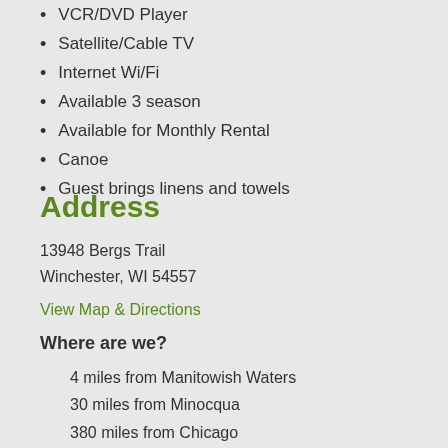VCR/DVD Player
Satellite/Cable TV
Internet Wi/Fi
Available 3 season
Available for Monthly Rental
Canoe
Guest brings linens and towels
Address
13948 Bergs Trail
Winchester, WI 54557
View Map & Directions
Where are we?
4 miles from Manitowish Waters
30 miles from Minocqua
380 miles from Chicago
195 miles from Green Bay